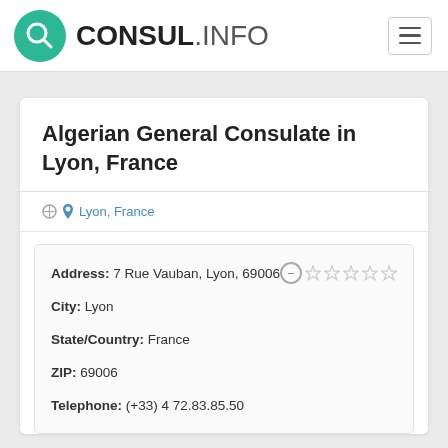[Figure (logo): CONSUL.INFO logo with teal search icon circle and bold text]
Algerian General Consulate in Lyon, France
Lyon, France
| Address: | 7 Rue Vauban, Lyon, 69006 |
| City: | Lyon |
| State/Country: | France |
| ZIP: | 69006 |
| Telephone: | (+33) 4 72.83.85.50 |